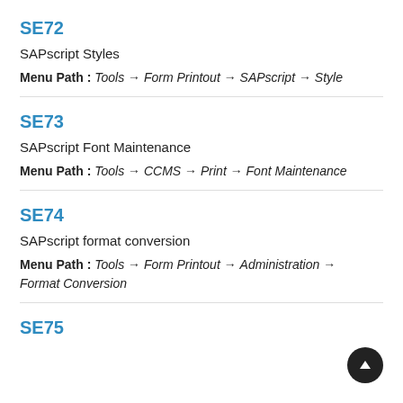SE72
SAPscript Styles
Menu Path : Tools → Form Printout → SAPscript → Style
SE73
SAPscript Font Maintenance
Menu Path : Tools → CCMS → Print → Font Maintenance
SE74
SAPscript format conversion
Menu Path : Tools → Form Printout → Administration → Format Conversion
SE75